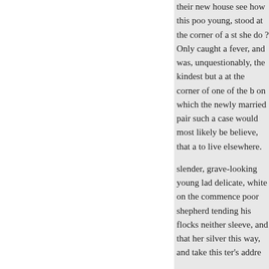their new house see how this poo young, stood at the corner of a st she do ? Only caught a fever, and was, unquestionably, the kindest but a at the corner of one of the b on which the newly married pair such a case would most likely be believe, that a to live elsewhere.
slender, grave-looking young lad delicate, white on the commence poor shepherd tending his flocks neither sleeve, and that her silver this way, and take this ter's addre
up.
The policeman turned round, as n the greatest where she was soon all work. A better servant dreds c of streets-half of them impostors went upon her shoulders; but Jan